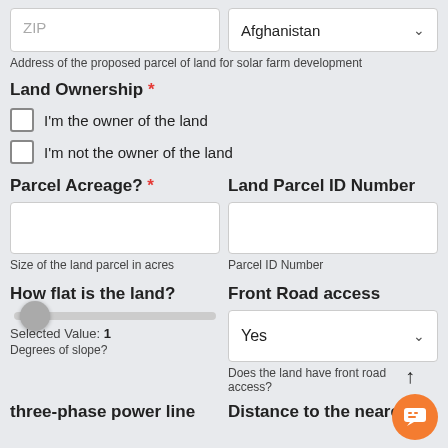ZIP
Afghanistan
Address of the proposed parcel of land for solar farm development
Land Ownership *
I'm the owner of the land
I'm not the owner of the land
Parcel Acreage? *
Land Parcel ID Number
Size of the land parcel in acres
Parcel ID Number
How flat is the land?
Front Road access
Selected Value: 1
Degrees of slope?
Yes
Does the land have front road access?
three-phase power line
Distance to the nearest